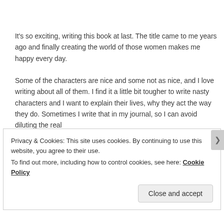It's so exciting, writing this book at last. The title came to me years ago and finally creating the world of those women makes me happy every day.
Some of the characters are nice and some not as nice, and I love writing about all of them. I find it a little bit tougher to write nasty characters and I want to explain their lives, why they act the way they do. Sometimes I write that in my journal, so I can avoid diluting the real
Privacy & Cookies: This site uses cookies. By continuing to use this website, you agree to their use.
To find out more, including how to control cookies, see here: Cookie Policy
Close and accept